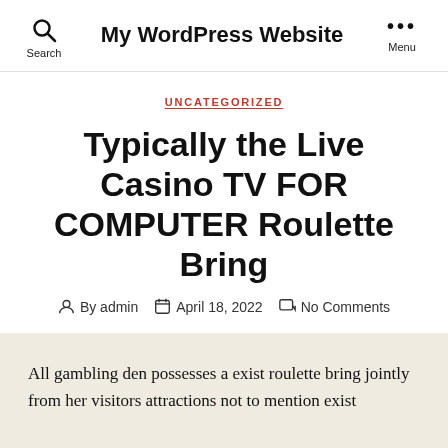My WordPress Website
UNCATEGORIZED
Typically the Live Casino TV FOR COMPUTER Roulette Bring
By admin   April 18, 2022   No Comments
All gambling den possesses a exist roulette bring jointly from her visitors attractions not to mention exist